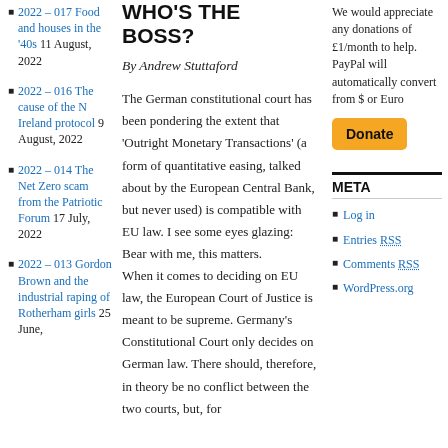2022 – 017 Food and houses in the '40s 11 August, 2022
2022 – 016 The cause of the N Ireland protocol 9 August, 2022
2022 – 014 The Net Zero scam from the Patriotic Forum 17 July, 2022
2022 – 013 Gordon Brown and the industrial raping of Rotherham girls 25 June,
WHO'S THE BOSS?
By Andrew Stuttaford
The German constitutional court has been pondering the extent that 'Outright Monetary Transactions' (a form of quantitative easing, talked about by the European Central Bank, but never used) is compatible with EU law. I see some eyes glazing: Bear with me, this matters. When it comes to deciding on EU law, the European Court of Justice is meant to be supreme. Germany's Constitutional Court only decides on German law. There should, therefore, in theory be no conflict between the two courts, but, for
We would appreciate any donations of £1/month to help. PayPal will automatically convert from $ or Euro
[Figure (other): Yellow Donate button]
META
Log in
Entries RSS
Comments RSS
WordPress.org